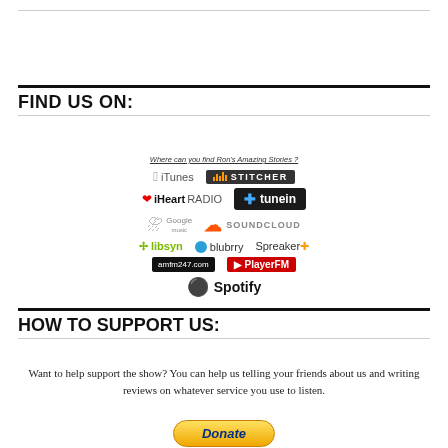FIND US ON:
[Figure (infographic): Grid of podcast platform logos: iTunes, Stitcher, iHeartRADIO, TuneIn, Google Music, SoundCloud, libsyn, blubrry, Spreaker, amfm247.com, PlayerFM, Spotify. Header reads 'Where can you find Ron's Amazing Stories?']
HOW TO SUPPORT US:
Want to help support the show? You can help us telling your friends about us and writing reviews on whatever service you use to listen.
[Figure (other): PayPal Donate button, yellow/orange gradient rounded button with italic bold 'Donate' text in dark blue]